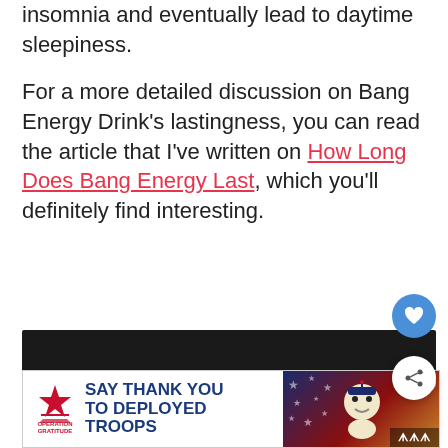insomnia and eventually lead to daytime sleepiness.
For a more detailed discussion on Bang Energy Drink's lastingness, you can read the article that I've written on How Long Does Bang Energy Last, which you'll definitely find interesting.
[Figure (screenshot): Black video player area with a 'What's Next' panel overlay showing a Bang Energy drink thumbnail and the text 'Is Bang Energy Drin...']
[Figure (photo): Advertisement banner for Operation Gratitude reading 'SAY THANK YOU TO DEPLOYED TROOPS']